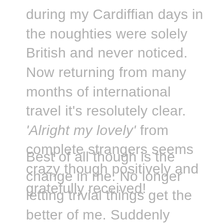during my Cardiffian days in the noughties were solely British and never noticed. Now returning from many months of international travel it's resolutely clear. 'Alright my lovely' from complete strangers seems crazy though positively and gratefully received!
Best of all though is the change in me. No longer letting trivial things get the better of me. Suddenly everything is as I thought it would be. China seems like a strange dream – did it really happen? At the local Chinese take-away I attempt a clumsy and slightly